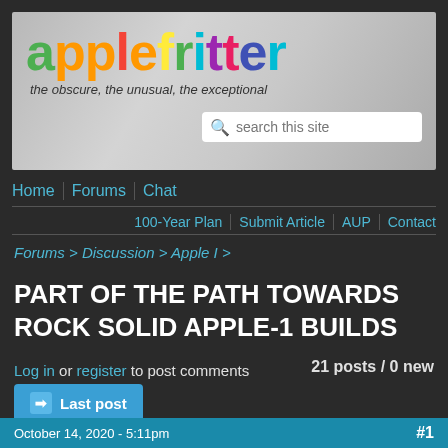[Figure (logo): Applefritter website banner with colorful rainbow logo text and tagline 'the obscure, the unusual, the exceptional' on a grey gradient background]
search this site
Home | Forums | Chat
100-Year Plan | Submit Article | AUP | Contact
Forums > Discussion > Apple I >
PART OF THE PATH TOWARDS ROCK SOLID APPLE-1 BUILDS
Log in or register to post comments
21 posts / 0 new
Last post
October 14, 2020 - 5:11pm
#1